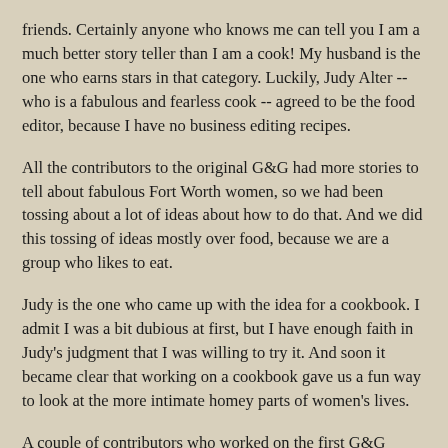friends. Certainly anyone who knows me can tell you I am a much better story teller than I am a cook! My husband is the one who earns stars in that category. Luckily, Judy Alter -- who is a fabulous and fearless cook -- agreed to be the food editor, because I have no business editing recipes.
All the contributors to the original G&G had more stories to tell about fabulous Fort Worth women, so we had been tossing about a lot of ideas about how to do that. And we did this tossing of ideas mostly over food, because we are a group who likes to eat.
Judy is the one who came up with the idea for a cookbook. I admit I was a bit dubious at first, but I have enough faith in Judy's judgment that I was willing to try it. And soon it became clear that working on a cookbook gave us a fun way to look at the more intimate homey parts of women's lives.
A couple of contributors who worked on the first G&G couldn't work on this book, so we had the added pleasure of having Brenda Sanders-Wise and Joy Donovan join our ranks. It has been fun to get to know both of them better.